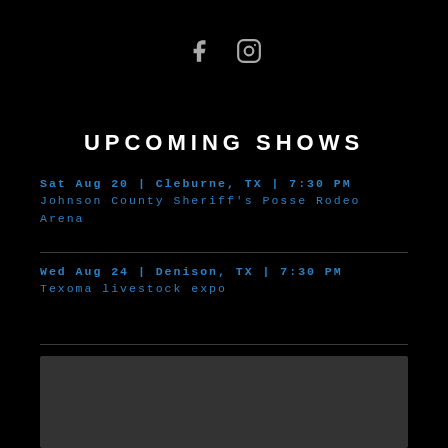[Figure (other): Social media icons: Facebook (f) and Instagram (camera) in gray]
UPCOMING SHOWS
Sat Aug 20 | Cleburne, TX | 7:30 PM
Johnson County Sheriff's Posse Rodeo Arena
Wed Aug 24 | Denison, TX | 7:30 PM
Texoma livestock expo
[Figure (photo): Dark gray rectangular image area at the bottom of the page]